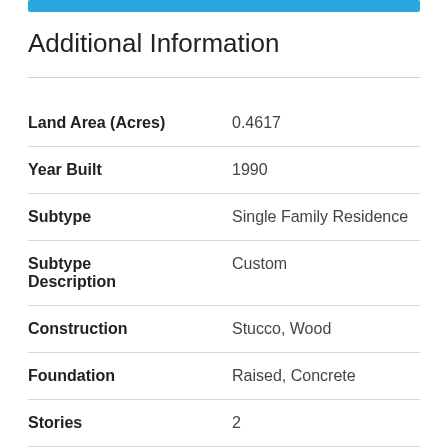Additional Information
| Field | Value |
| --- | --- |
| Land Area (Acres) | 0.4617 |
| Year Built | 1990 |
| Subtype | Single Family Residence |
| Subtype Description | Custom |
| Construction | Stucco, Wood |
| Foundation | Raised, Concrete |
| Stories | 2 |
| Garage Spaces | 3 |